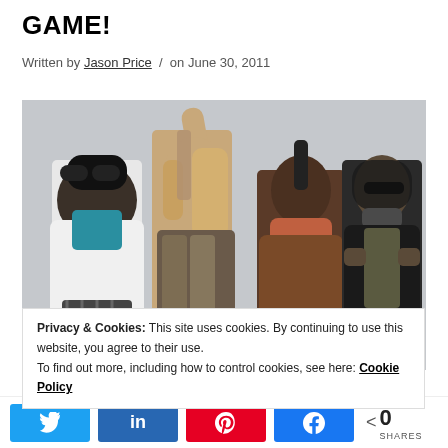GAME!
Written by Jason Price / on June 30, 2011
[Figure (photo): Four members of the Black Eyed Peas posing against a light grey background. From left: a man in a white jacket and dark goggles, a woman in a patterned outfit with arm raised, a man in a brown jacket with mohawk haircut, and a person in a dark hoodie with sunglasses.]
Privacy & Cookies: This site uses cookies. By continuing to use this website, you agree to their use.
To find out more, including how to control cookies, see here: Cookie Policy